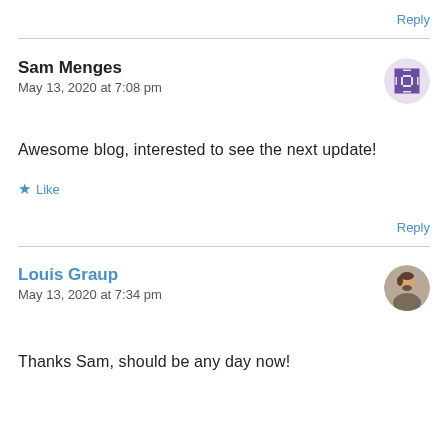Reply
Sam Menges
May 13, 2020 at 7:08 pm
Awesome blog, interested to see the next update!
Like
Reply
Louis Graup
May 13, 2020 at 7:34 pm
Thanks Sam, should be any day now!